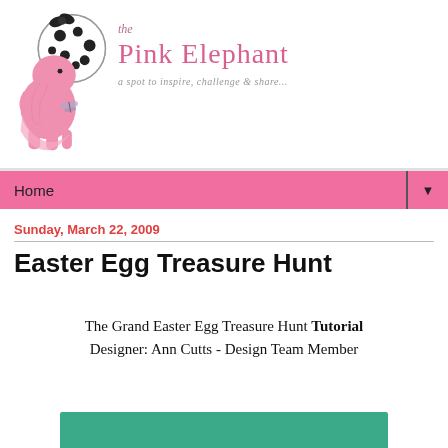[Figure (logo): Pink elephant cartoon logo with black polka-dot ears and bow, and text 'the Pink Elephant - a spot to inspire, challenge & share...']
Home ▼
Sunday, March 22, 2009
Easter Egg Treasure Hunt
The Grand Easter Egg Treasure Hunt Tutorial
Designer: Ann Cutts - Design Team Member
[Figure (illustration): Teal/green decorative bar at bottom of page]